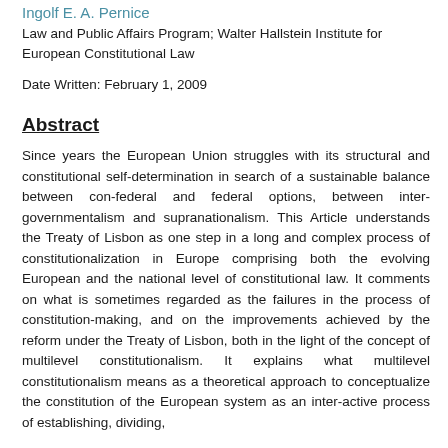Ingolf E. A. Pernice
Law and Public Affairs Program; Walter Hallstein Institute for European Constitutional Law
Date Written: February 1, 2009
Abstract
Since years the European Union struggles with its structural and constitutional self-determination in search of a sustainable balance between con-federal and federal options, between inter-governmentalism and supranationalism. This Article understands the Treaty of Lisbon as one step in a long and complex process of constitutionalization in Europe comprising both the evolving European and the national level of constitutional law. It comments on what is sometimes regarded as the failures in the process of constitution-making, and on the improvements achieved by the reform under the Treaty of Lisbon, both in the light of the concept of multilevel constitutionalism. It explains what multilevel constitutionalism means as a theoretical approach to conceptualize the constitution of the European system as an inter-active process of establishing, dividing,